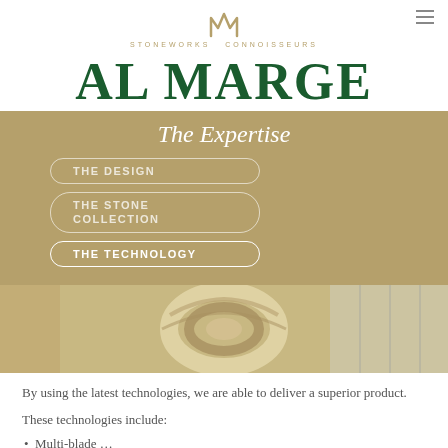[Figure (logo): Al Marge Stoneworks Connoisseurs logo with stylized M crown icon]
AL MARGE
The Expertise
THE DESIGN
THE STONE COLLECTION
THE TECHNOLOGY
[Figure (photo): Aerial view of a circular stone staircase with marble steps and a modern glass wall]
By using the latest technologies, we are able to deliver a superior product.
These technologies include:
Multi-blade …